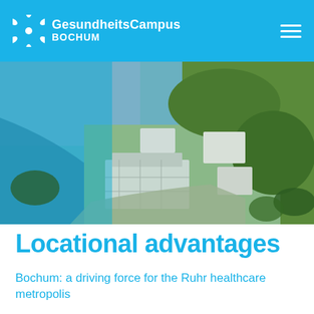GesundheitsCampus BOCHUM
[Figure (photo): Aerial photograph of GesundheitsCampus Bochum showing campus buildings, green areas, roads, and surrounding urban landscape from above, with a blue-tinted overlay on the left side.]
Locational advantages
Bochum: a driving force for the Ruhr healthcare metropolis